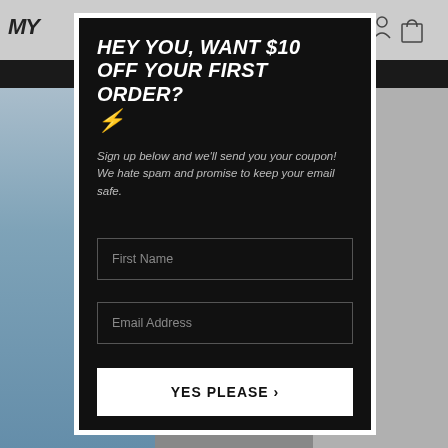[Figure (screenshot): Website background showing partial logo 'MY' and navigation bar with cart icon, dark strip, and blurred product image of a person wearing a light blue shirt]
HEY YOU, WANT $10 OFF YOUR FIRST ORDER? ⚡
Sign up below and we'll send you your coupon! We hate spam and promise to keep your email safe.
First Name
Email Address
YES PLEASE 🡒